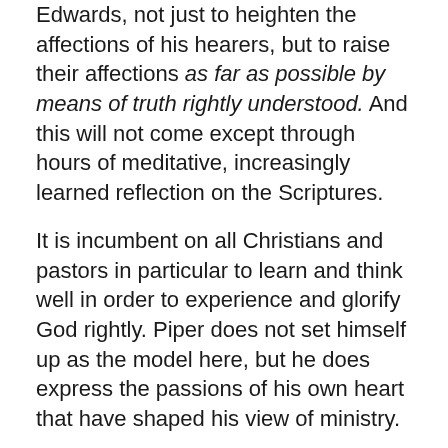Edwards, not just to heighten the affections of his hearers, but to raise their affections as far as possible by means of truth rightly understood. And this will not come except through hours of meditative, increasingly learned reflection on the Scriptures.
It is incumbent on all Christians and pastors in particular to learn and think well in order to experience and glorify God rightly. Piper does not set himself up as the model here, but he does express the passions of his own heart that have shaped his view of ministry.
Piper's challenge is needed. This is something which all of us in pastoral ministry would do well to heed in order to fulfill our ministry.
Piper then provides several pages of clear and vivid